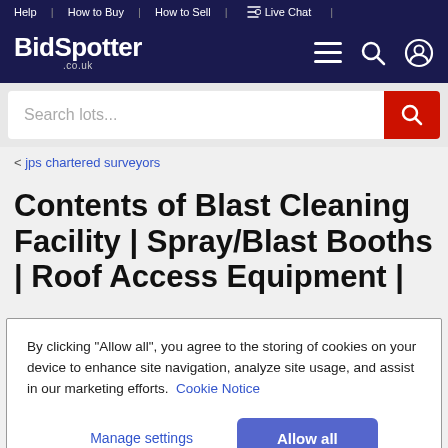Help | How to Buy | How to Sell | Live Chat |
[Figure (logo): BidSpotter .co.uk logo with hamburger menu, search, and user profile icons on dark navy background]
Search lots...
< jps chartered surveyors
Contents of Blast Cleaning Facility | Spray/Blast Booths | Roof Access Equipment |
By clicking “Allow all”, you agree to the storing of cookies on your device to enhance site navigation, analyze site usage, and assist in our marketing efforts. Cookie Notice
Manage settings    Allow all